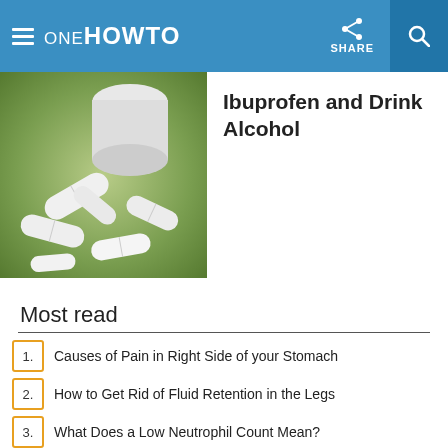oneHOWTO | SHARE
[Figure (photo): White ibuprofen pills spilling out of a white bottle on a green background]
Ibuprofen and Drink Alcohol
Most read
1. Causes of Pain in Right Side of your Stomach
2. How to Get Rid of Fluid Retention in the Legs
3. What Does a Low Neutrophil Count Mean?
4. How To Get Rid Of Burning When Urinating
5. What Is The Normal Range Of Lymphocyte Count
6. What Causes Clitoris Swelling
7. How Long Does it Take for Prednisone to Work